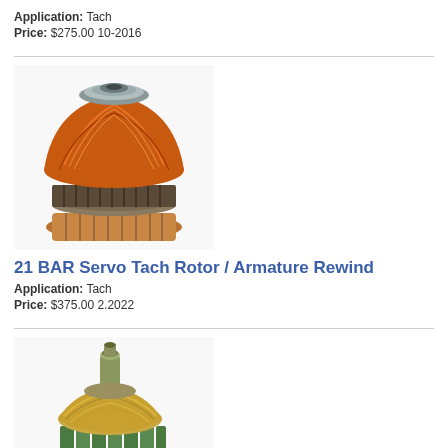Application: Tach
Price: $275.00 10-2016
[Figure (photo): Photo of a servo tach rotor/armature with copper windings and commutator segments, top view showing orange-red coil windings]
21 BAR Servo Tach Rotor / Armature Rewind
Application: Tach
Price: $375.00 2.2022
[Figure (photo): Photo of a servo tach rotor/armature with yellow/tan windings, green insulation on bars, and copper commutator at base]